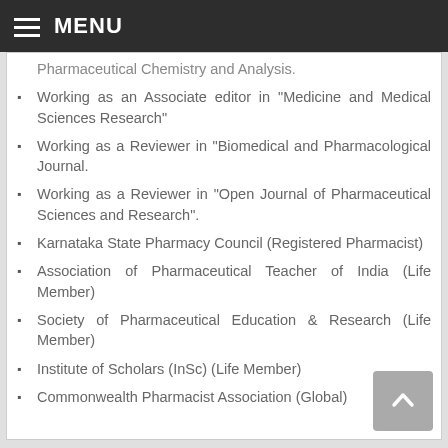MENU
Pharmaceutical Chemistry and Analysis.
Working as an Associate editor in "Medicine and Medical Sciences Research"
Working as a Reviewer in "Biomedical and Pharmacological Journal.
Working as a Reviewer in "Open Journal of Pharmaceutical Sciences and Research".
Karnataka State Pharmacy Council (Registered Pharmacist)
Association of Pharmaceutical Teacher of India (Life Member)
Society of Pharmaceutical Education & Research (Life Member)
Institute of Scholars (InSc) (Life Member)
Commonwealth Pharmacist Association (Global)